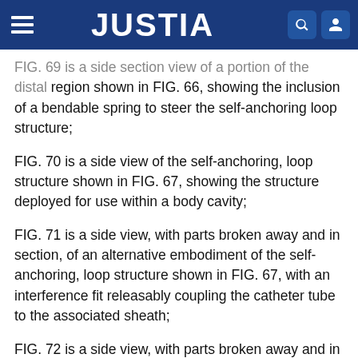JUSTIA
FIG. 69 is a side section view of a portion of the distal region shown in FIG. 66, showing the inclusion of a bendable spring to steer the self-anchoring loop structure;
FIG. 70 is a side view of the self-anchoring, loop structure shown in FIG. 67, showing the structure deployed for use within a body cavity;
FIG. 71 is a side view, with parts broken away and in section, of an alternative embodiment of the self-anchoring, loop structure shown in FIG. 67, with an interference fit releasably coupling the catheter tube to the associated sheath;
FIG. 72 is a side view, with parts broken away and in section, of an alternative embodiment of the self-anchoring, loop structure shown in FIG. 67, with a